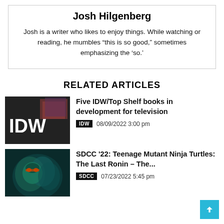Josh Hilgenberg
Josh is a writer who likes to enjoy things. While watching or reading, he mumbles “this is so good,” sometimes emphasizing the ‘so.’
RELATED ARTICLES
[Figure (photo): IDW logo with comic book covers in background]
Five IDW/Top Shelf books in development for television
IDW  08/09/2022 3:00 pm
[Figure (photo): Teenage Mutant Ninja Turtles dark illustration]
SDCC ’22: Teenage Mutant Ninja Turtles: The Last Ronin – The...
SDCC  07/23/2022 5:45 pm